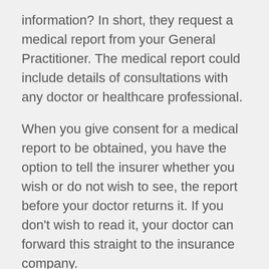information? In short, they request a medical report from your General Practitioner. The medical report could include details of consultations with any doctor or healthcare professional.
When you give consent for a medical report to be obtained, you have the option to tell the insurer whether you wish or do not wish to see, the report before your doctor returns it. If you don't wish to read it, your doctor can forward this straight to the insurance company.
Alternatively, you can view the report at your GP's surgery within 21 days of the request. At this stage, you can ask your doctor to make amendments, deny them permission to send it, or